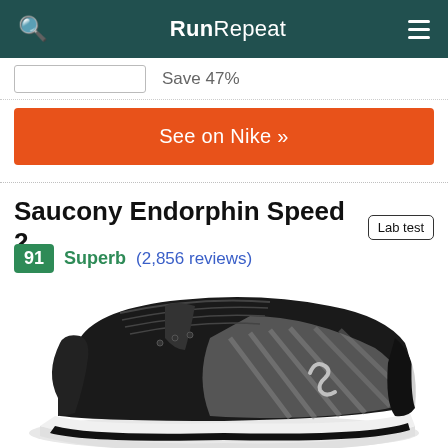RunRepeat
Save 47%
See on Nike »
Saucony Endorphin Speed 2
Lab test
91  Superb (2,856 reviews)
[Figure (photo): Saucony Endorphin Speed 2 running shoe in black and grey colorway, side profile view on white background]